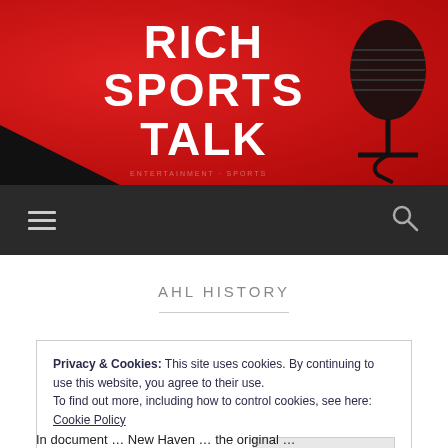[Figure (logo): Rich Sports Talk website header banner with red background, white bold text reading RICH SPORTS TALK, a microphone silhouette on the right, and a dark shape on the bottom left]
≡  🔍
AHL HISTORY
Privacy & Cookies: This site uses cookies. By continuing to use this website, you agree to their use.
To find out more, including how to control cookies, see here: Cookie Policy
[Close and accept]
In document … New Haven … the original …